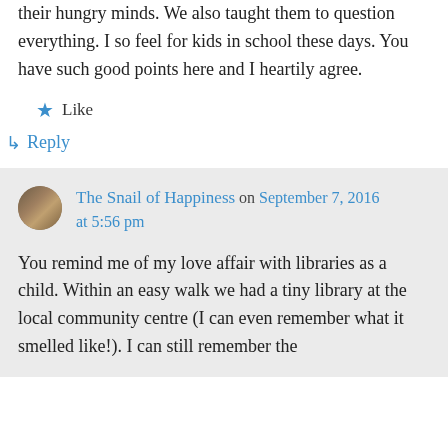their hungry minds. We also taught them to question everything. I so feel for kids in school these days. You have such good points here and I heartily agree.
★ Like
↳ Reply
The Snail of Happiness on September 7, 2016 at 5:56 pm
You remind me of my love affair with libraries as a child. Within an easy walk we had a tiny library at the local community centre (I can even remember what it smelled like!). I can still remember the